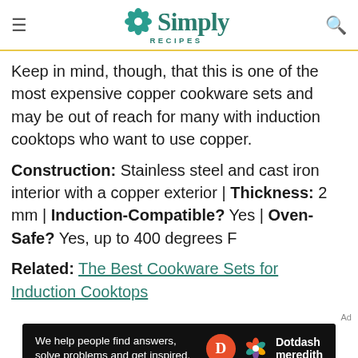Simply Recipes
Keep in mind, though, that this is one of the most expensive copper cookware sets and may be out of reach for many with induction cooktops who want to use copper.
Construction: Stainless steel and cast iron interior with a copper exterior | Thickness: 2 mm | Induction-Compatible? Yes | Oven-Safe? Yes, up to 400 degrees F
Related: The Best Cookware Sets for Induction Cooktops
[Figure (infographic): Dotdash Meredith advertisement banner with tagline 'We help people find answers, solve problems and get inspired.']